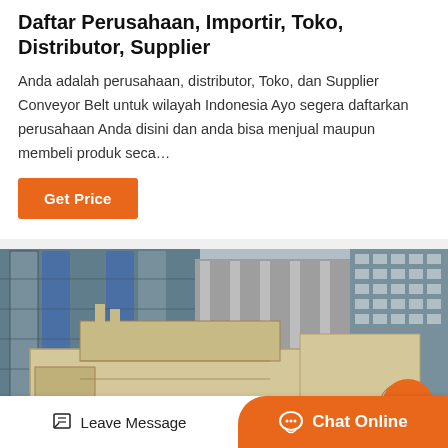Daftar Perusahaan, Importir, Toko, Distributor, Supplier
Anda adalah perusahaan, distributor, Toko, dan Supplier Conveyor Belt untuk wilayah Indonesia Ayo segera daftarkan perusahaan Anda disini dan anda bisa menjual maupun membeli produk seca…
[Figure (other): Button: Get Price (orange background, white text)]
[Figure (photo): Photo of industrial machinery (cream/beige colored heavy equipment) in front of modern glass-facade office buildings in an urban setting.]
Leave Message  |  Chat Online